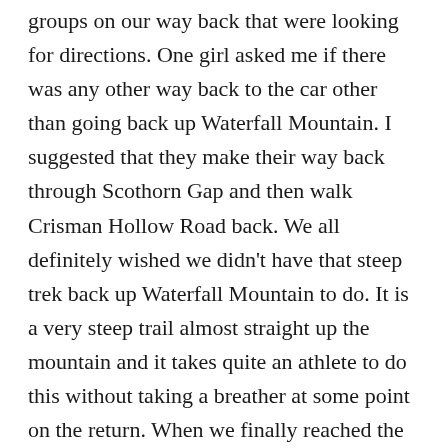groups on our way back that were looking for directions.  One girl asked me if there was any other way back to the car other than going back up Waterfall Mountain.  I suggested that they make their way back through Scothorn Gap and then walk Crisman Hollow Road back.   We all definitely wished we didn't have that steep trek back up Waterfall Mountain to do.  It is a very steep trail almost straight up the mountain and it takes quite an athlete to do this without taking a breather at some point on the return.  When we finally reached the top, we congratulated our success and then made the last .5 miles back to our car.
When we were hiking the trail, I kept thinking about the MMT 100 racers that were running this trail.  We had come across one of the race-workers and he told